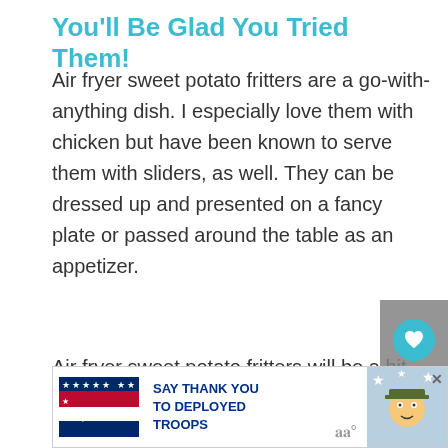You'll Be Glad You Tried Them!
Air fryer sweet potato fritters are a go-with-anything dish. I especially love them with chicken but have been known to serve them with sliders, as well. They can be dressed up and presented on a fancy plate or passed around the table as an appetizer.
Air fryer sweet potato fritters will be a hit with everyone and are a versatile recipe
[Figure (screenshot): Advertisement banner for Operation Gratitude: 'SAY THANK YOU TO DEPLOYED TROOPS' with logo, patriotic imagery and cartoon soldier mascot]